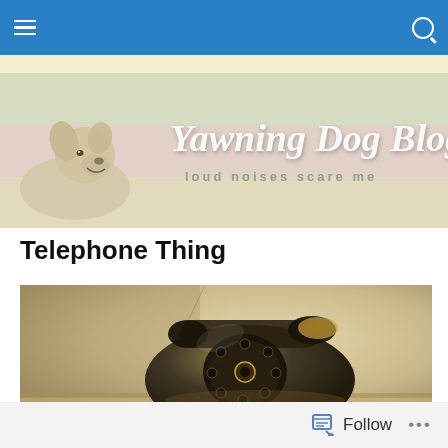Navigation bar with menu and search icons
[Figure (illustration): Yawning Dog Blog banner with dog image on left and script text 'Yawning Dog Blog' and subtitle 'loud noises scare me' on pastel striped background]
Telephone Thing
[Figure (photo): Sepia-toned photograph of a vintage rotary dial telephone on a surface]
Follow ...